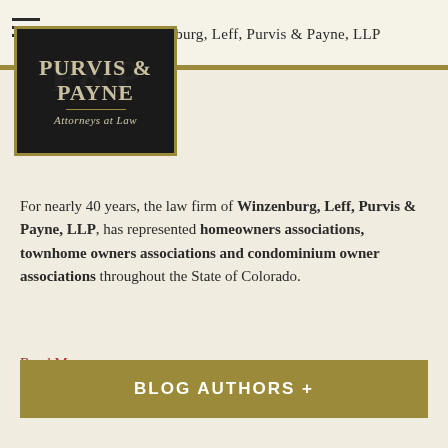Winzenburg, Leff, Purvis & Payne, LLP
[Figure (logo): Purvis & Payne Attorneys at Law logo — dark background with gold border, italic serif text]
For nearly 40 years, the law firm of Winzenburg, Leff, Purvis & Payne, LLP, has represented homeowners associations, townhome owners associations and condominium owner associations throughout the State of Colorado.
Read More....
BLOG AUTHORS +